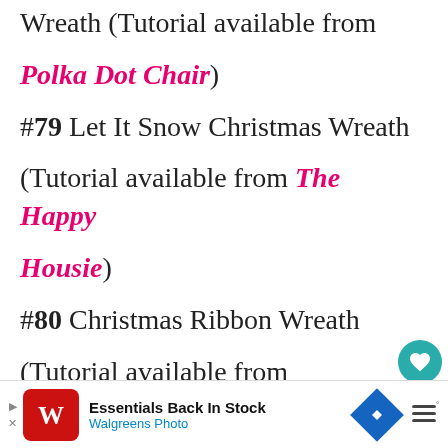Wreath (Tutorial available from Polka Dot Chair)
#79 Let It Snow Christmas Wreath
(Tutorial available from The Happy Housie)
#80 Christmas Ribbon Wreath
(Tutorial available from Shelterness)
[Figure (infographic): UI sidebar with heart/like button (teal circle with heart icon), count 190, and share button (teal circle with share icon)]
[Figure (infographic): Bottom advertisement bar: Walgreens Photo ad with red logo, text 'Essentials Back In Stock / Walgreens Photo', blue navigation diamond icon, and menu icon]